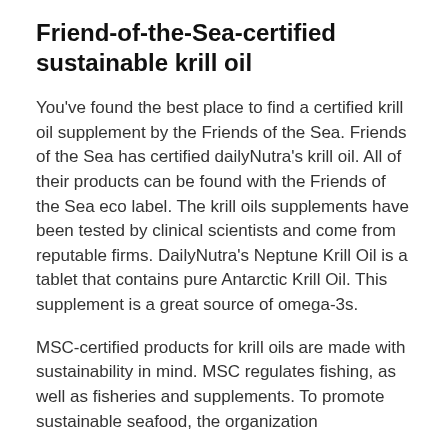Friend-of-the-Sea-certified sustainable krill oil
You've found the best place to find a certified krill oil supplement by the Friends of the Sea. Friends of the Sea has certified dailyNutra's krill oil. All of their products can be found with the Friends of the Sea eco label. The krill oils supplements have been tested by clinical scientists and come from reputable firms. DailyNutra's Neptune Krill Oil is a tablet that contains pure Antarctic Krill Oil. This supplement is a great source of omega-3s.
MSC-certified products for krill oils are made with sustainability in mind. MSC regulates fishing, as well as fisheries and supplements. To promote sustainable seafood, the organization